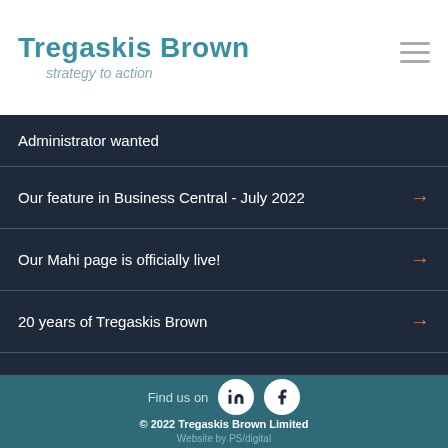Tregaskis Brown - strategy to action
Administrator wanted
Our feature in Business Central - July 2022
Our Mahi page is officially live!
20 years of Tregaskis Brown
Find us on  |  © 2022 Tregaskis Brown Limited  |  Website by PS/digital